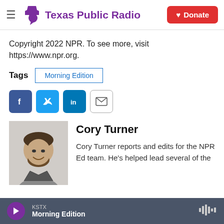Texas Public Radio
Copyright 2022 NPR. To see more, visit https://www.npr.org.
Tags  Morning Edition
[Figure (other): Social sharing buttons: Facebook, Twitter, LinkedIn, Email]
[Figure (photo): Headshot photo of Cory Turner, a man with dark beard smiling]
Cory Turner
Cory Turner reports and edits for the NPR Ed team. He's helped lead several of the
KSTX  Morning Edition